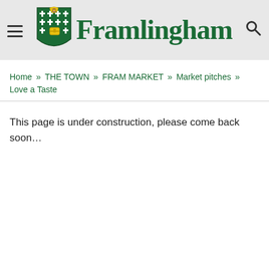[Figure (logo): Framlingham town council logo with shield crest and green text 'Framlingham']
Home » THE TOWN » FRAM MARKET » Market pitches » Love a Taste
This page is under construction, please come back soon...